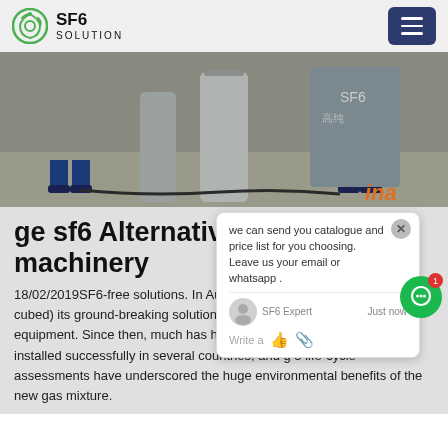SF6 SOLUTION
[Figure (photo): Workers in blue coveralls working with SF6 gas cylinders and industrial equipment, with Chinese text signage visible in the background. Orange 'ina' text visible at bottom right.]
ge sf6 Alternatives machinery
18/02/2019SF6-free solutions. In August 2014, GE unveiled g 3 (g cubed) its ground-breaking solution for replacing SF 6 in high-voltage equipment. Since then, much has happened. g 3 products have been installed successfully in several countries, and g 3 life-cycle assessments have underscored the huge environmental benefits of the new gas mixture.